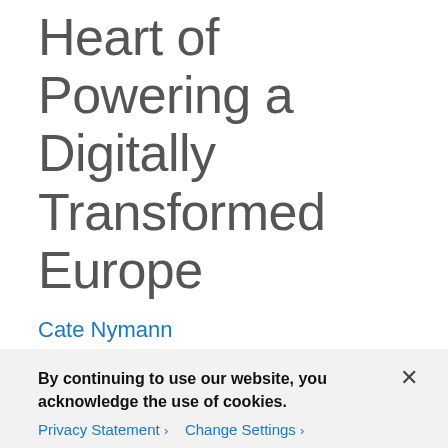Heart of Powering a Digitally Transformed Europe
Cate Nymann
Cisco welcomes the European Commission's new strategy released today on Shaping Europe's Digital Future. The Commission's focus on bringing digital into Europe's mainstream economy and society is a powerful way to restore our global technological leadership and ensure the digital transformation is inclusive of
By continuing to use our website, you acknowledge the use of cookies.
Privacy Statement ›   Change Settings ›